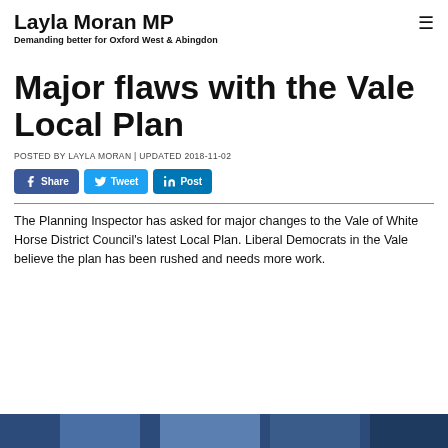Layla Moran MP
Demanding better for Oxford West & Abingdon
Major flaws with the Vale Local Plan
POSTED BY LAYLA MORAN | UPDATED 2018-11-02
[Figure (other): Social sharing buttons: Facebook Share, Twitter Tweet, LinkedIn Post]
The Planning Inspector has asked for major changes to the Vale of White Horse District Council's latest Local Plan. Liberal Democrats in the Vale believe the plan has been rushed and needs more work.
[Figure (photo): Photo strip at bottom of page showing people outdoors]